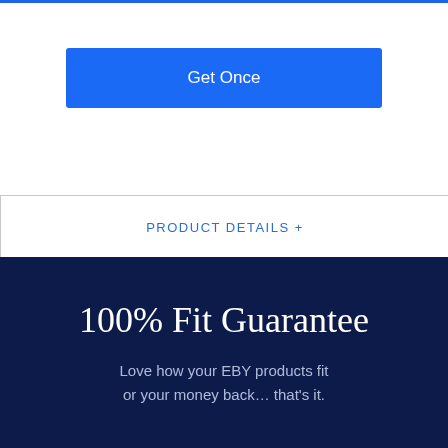Get Once
PRODUCT DETAILS +
100% Fit Guarantee
Love how your EBY products fit or your money back… that's it.